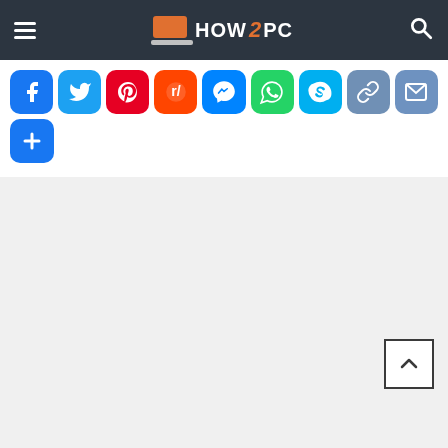[Figure (screenshot): How2PC website header with hamburger menu, orange laptop logo, HOW2PC text logo in white and orange, and search icon on dark background]
[Figure (infographic): Social sharing buttons row: Facebook (blue), Twitter (light blue), Pinterest (red), Reddit (orange-red), Messenger (blue), WhatsApp (green), Skype (cyan), Link/copy (steel blue), Email (blue-grey), and a plus button (blue)]
[Figure (screenshot): Back to top arrow button in bottom right corner on gray background]